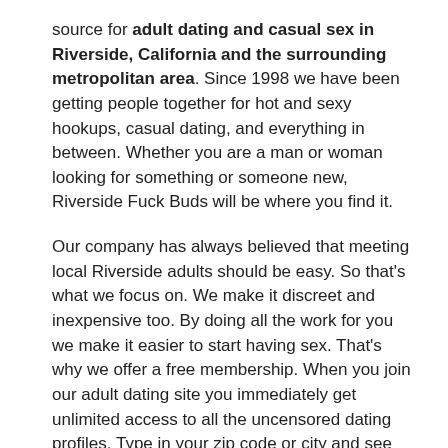source for adult dating and casual sex in Riverside, California and the surrounding metropolitan area. Since 1998 we have been getting people together for hot and sexy hookups, casual dating, and everything in between. Whether you are a man or woman looking for something or someone new, Riverside Fuck Buds will be where you find it.
Our company has always believed that meeting local Riverside adults should be easy. So that's what we focus on. We make it discreet and inexpensive too. By doing all the work for you we make it easier to start having sex. That's why we offer a free membership. When you join our adult dating site you immediately get unlimited access to all the uncensored dating profiles. Type in your zip code or city and see how many